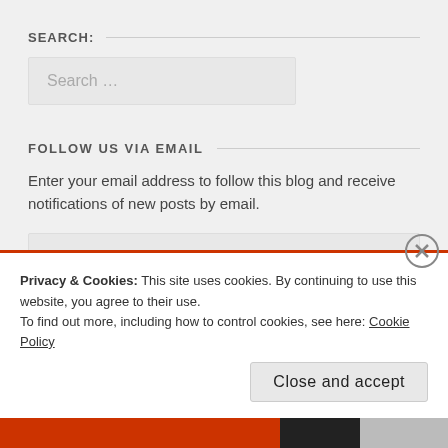SEARCH:
Search …
FOLLOW US VIA EMAIL
Enter your email address to follow this blog and receive notifications of new posts by email.
Enter your email address
Privacy & Cookies: This site uses cookies. By continuing to use this website, you agree to their use.
To find out more, including how to control cookies, see here: Cookie Policy
Close and accept